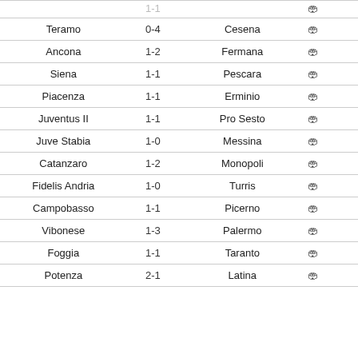| Home | Score | Away |  |
| --- | --- | --- | --- |
| Teramo | 0-4 | Cesena | crowd |
| Ancona | 1-2 | Fermana | crowd |
| Siena | 1-1 | Pescara | crowd |
| Piacenza | 1-1 | Erminio | crowd |
| Juventus II | 1-1 | Pro Sesto | crowd |
| Juve Stabia | 1-0 | Messina | crowd |
| Catanzaro | 1-2 | Monopoli | crowd |
| Fidelis Andria | 1-0 | Turris | crowd |
| Campobasso | 1-1 | Picerno | crowd |
| Vibonese | 1-3 | Palermo | crowd |
| Foggia | 1-1 | Taranto | crowd |
| Potenza | 2-1 | Latina | crowd |